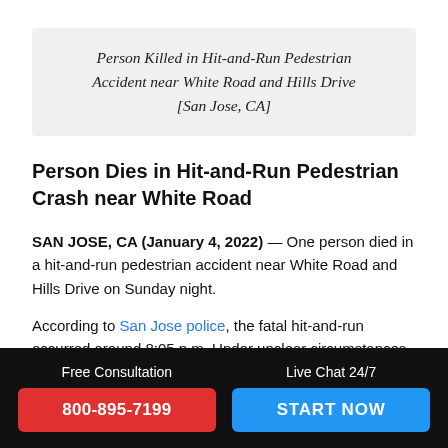Person Killed in Hit-and-Run Pedestrian Accident near White Road and Hills Drive [San Jose, CA]
Person Dies in Hit-and-Run Pedestrian Crash near White Road
SAN JOSE, CA (January 4, 2022) — One person died in a hit-and-run pedestrian accident near White Road and Hills Drive on Sunday night.
According to San Jose police, the fatal hit-and-run occurred around 8:05 p.m. Under unclear circumstances, a dark-
Free Consultation   800-895-7199   Live Chat 24/7   START NOW